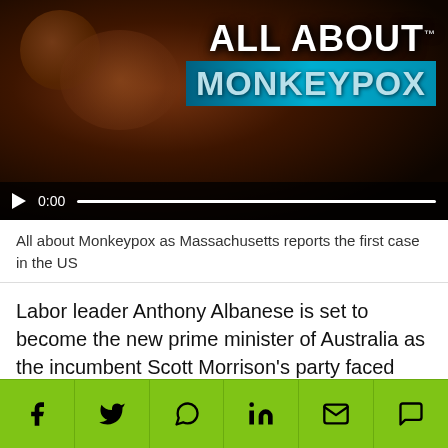[Figure (screenshot): Video thumbnail showing skin with monkeypox lesions, overlay text reading 'ALL ABOUT MONKEYPOX', video controls at bottom showing play button and 0:00 timestamp]
All about Monkeypox as Massachusetts reports the first case in the US
Labor leader Anthony Albanese is set to become the new prime minister of Australia as the incumbent Scott Morrison's party faced massive losses in the federal polls. Albanese, who will become the 31st prime minister of the country, has been in the parliament for more than 26 years.
Albanese, the son of a single mother, will replace Liberal
[Figure (other): Green social sharing bar with icons for Facebook, Twitter, WhatsApp, LinkedIn, Email, and Messenger]